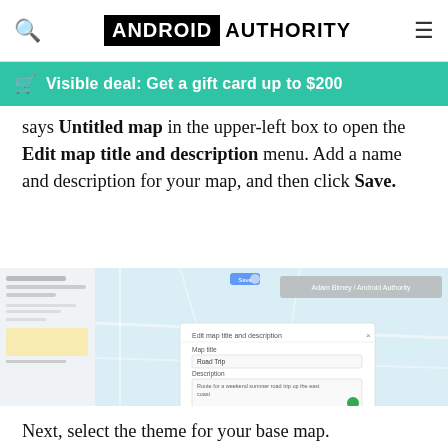ANDROID AUTHORITY
Visible deal: Get a gift card up to $200
says Untitled map in the upper-left box to open the Edit map title and description menu. Add a name and description for your map, and then click Save.
[Figure (screenshot): Screenshot of Google Maps custom map editor showing the Edit map title and description dialog box open. The dialog has fields for Map title (Road Trip) and Description. A save button is visible. Attribution reads Adam Birney / Android Authority.]
Next, select the theme for your base map.